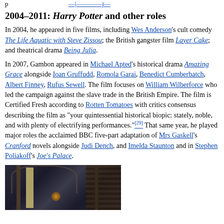p				—|————j—
2004–2011: Harry Potter and other roles
In 2004, he appeared in five films, including Wes Anderson's cult comedy The Life Aquatic with Steve Zissou; the British gangster film Layer Cake; and theatrical drama Being Julia.
In 2007, Gambon appeared in Michael Apted's historical drama Amazing Grace alongside Ioan Gruffudd, Romola Garai, Benedict Cumberbatch, Albert Finney, Rufus Sewell. The film focuses on William Wilberforce who led the campaign against the slave trade in the British Empire. The film is Certified Fresh according to Rotten Tomatoes with critics consensus describing the film as "your quintessential historical biopic: stately, noble, and with plenty of electrifying performances."[29] That same year, he played major roles the acclaimed BBC five-part adaptation of Mrs Gaskell's Cranford novels alongside Judi Dench, and Imelda Staunton and in Stephen Poliakoff's Joe's Palace.
[Figure (photo): A dark gothic castle interior scene, likely from Harry Potter films, showing a figure in yellow/gold robes standing between large stone columns with bookshelves in the background and a glowing orb.]